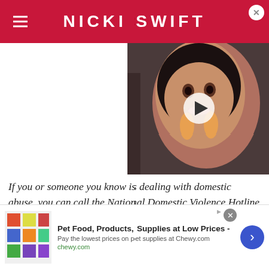NICKI SWIFT
[Figure (photo): Video thumbnail of a smiling woman with dark hair and gold earrings, with a white play button overlay]
If you or someone you know is dealing with domestic abuse, you can call the National Domestic Violence Hotline at 1–800–799–7233. You can also find more information, resources, and support at their website.
[Figure (screenshot): Advertisement banner for Chewy.com: Pet Food, Products, Supplies at Low Prices - Pay the lowest prices on pet supplies at Chewy.com]